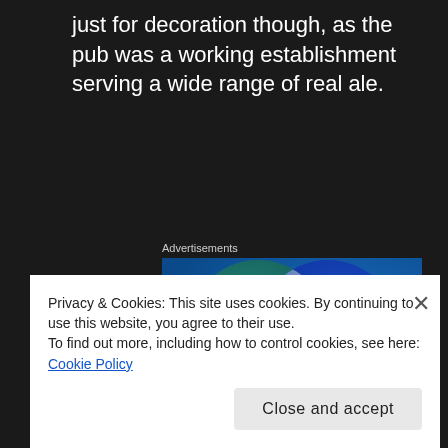just for decoration though, as the pub was a working establishment serving a wide range of real ale.
Advertisements
[Figure (other): Advertisement image showing a Venn diagram with two overlapping circles — left circle labeled 'Everything' on a teal/green background, right circle labeled 'Anything' on a blue background, with a light overlapping intersection area, against a blue gradient background.]
Privacy & Cookies: This site uses cookies. By continuing to use this website, you agree to their use.
To find out more, including how to control cookies, see here: Cookie Policy
Close and accept